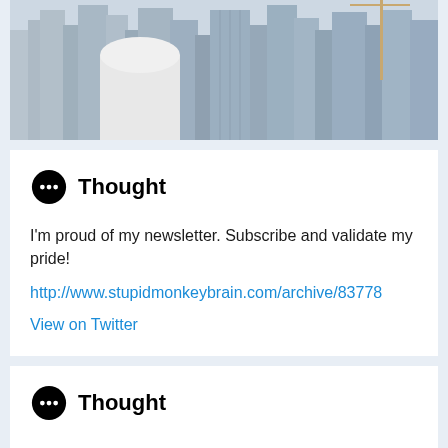[Figure (photo): Aerial view of city skyline with tall skyscrapers and buildings under construction]
Thought
I'm proud of my newsletter. Subscribe and validate my pride!
http://www.stupidmonkeybrain.com/archive/83778
View on Twitter
Thought